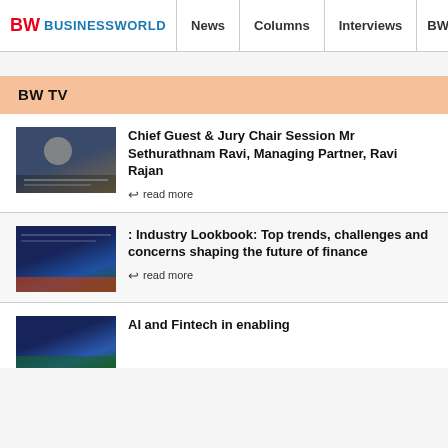BW BUSINESSWORLD | News | Columns | Interviews | BW
BW TV
Chief Guest & Jury Chair Session Mr Sethurathnam Ravi, Managing Partner, Ravi Rajan
read more
: Industry Lookbook: Top trends, challenges and concerns shaping the future of finance
read more
AI and Fintech in enabling